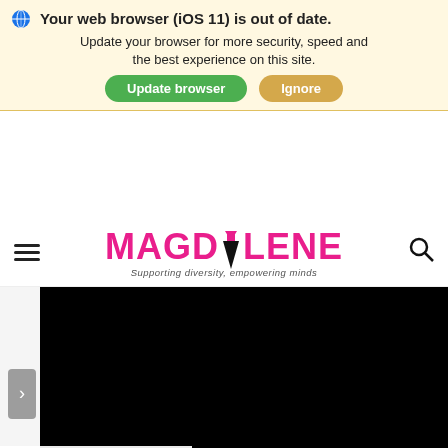promoting "cheap fuel" on his party's TV ad in January, and has proposed cut fuel subsidies "especially for... excise duty" in the vision and mission document submitted to
[Figure (screenshot): Browser update warning banner for iOS 11 with 'Update browser' green button and 'Ignore' tan button]
[Figure (logo): Magdolene logo with pink stylized text and pen nib, tagline: Supporting diversity, empowering minds]
[Figure (screenshot): Black video/slider area with a right-facing arrow button on the left side]
SAFE SPA...
[Figure (photo): Small broken thumbnail image placeholder]
[Figure (other): Gray hamburger menu icon at bottom center]